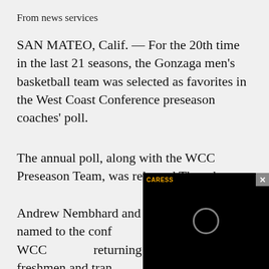From news services
SAN MATEO, Calif. — For the 20th time in the last 21 seasons, the Gonzaga men's basketball team was selected as favorites in the West Coast Conference preseason coaches' poll.
The annual poll, along with the WCC Preseason Team, was released Thursday.
Andrew Nembhard and Drew Timme were named to the conf… Preseason All-WCC… returning student-… freshmen and tran… consideration.
[Figure (screenshot): Black video player overlay with a loading spinner circle, a close button (X) in the top-right corner, and a yellow 'CARESS' label in the top-left.]